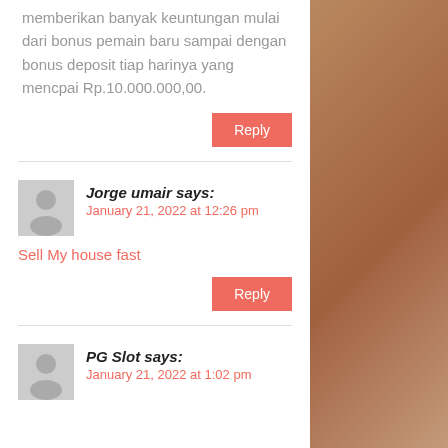memberikan banyak keuntungan mulai dari bonus pemain baru sampai dengan bonus deposit tiap harinya yang mencpai Rp.10.000.000,00.
Reply
Jorge umair says:
January 21, 2022 at 12:26 pm
Sell My house fast
Reply
PG Slot says:
January 21, 2022 at 1:02 pm